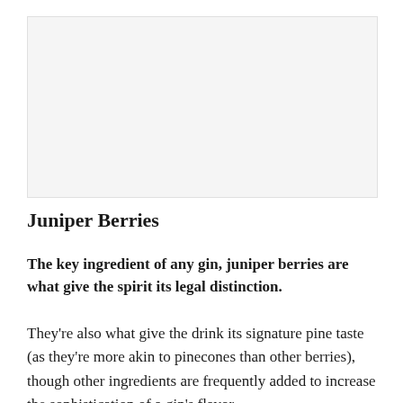[Figure (photo): Image placeholder area showing a light gray background, likely a photo of juniper berries]
Juniper Berries
The key ingredient of any gin, juniper berries are what give the spirit its legal distinction.
They're also what give the drink its signature pine taste (as they're more akin to pinecones than other berries), though other ingredients are frequently added to increase the sophistication of a gin's flavor.